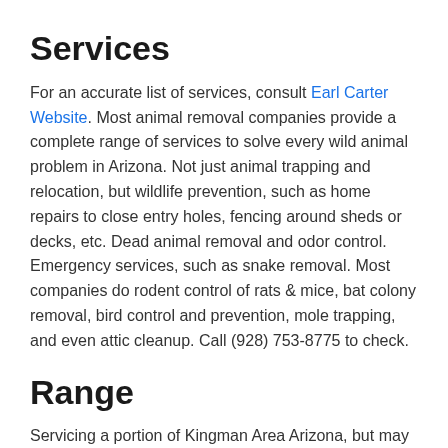Services
For an accurate list of services, consult Earl Carter Website. Most animal removal companies provide a complete range of services to solve every wild animal problem in Arizona. Not just animal trapping and relocation, but wildlife prevention, such as home repairs to close entry holes, fencing around sheds or decks, etc. Dead animal removal and odor control. Emergency services, such as snake removal. Most companies do rodent control of rats & mice, bat colony removal, bird control and prevention, mole trapping, and even attic cleanup. Call (928) 753-8775 to check.
Range
Servicing a portion of Kingman Area Arizona, but may extend beyond that. If unsure call them at (928) 753-8775 to find out their service locations and range.